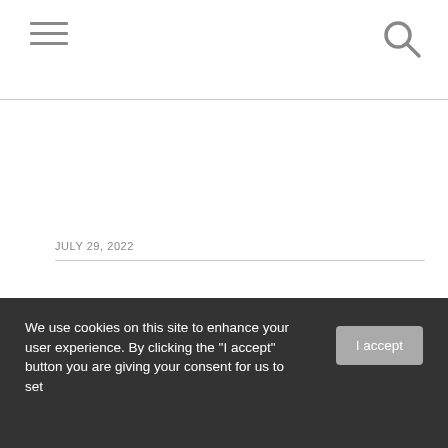JULY 29, 2022
We use cookies on this site to enhance your user experience. By clicking the "I accept" button you are giving your consent for us to set